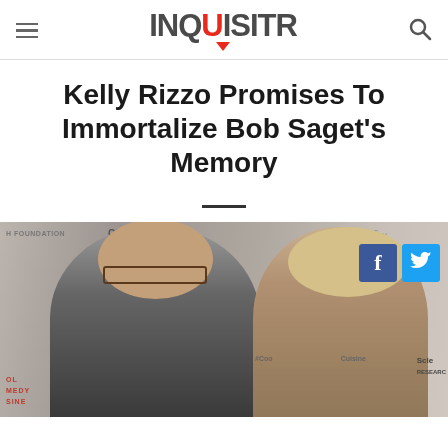INQUISITR
Kelly Rizzo Promises To Immortalize Bob Saget's Memory
[Figure (photo): Photo of Bob Saget and Kelly Rizzo at an event with 'Cool Comedy Cuisine' and other event branding visible in the background. Social media share buttons (Facebook and Twitter) are overlaid on the photo.]